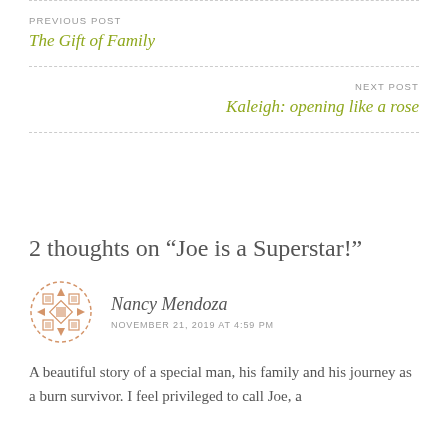PREVIOUS POST
The Gift of Family
NEXT POST
Kaleigh: opening like a rose
2 thoughts on “Joe is a Superstar!”
Nancy Mendoza
NOVEMBER 21, 2019 AT 4:59 PM
A beautiful story of a special man, his family and his journey as a burn survivor. I feel privileged to call Joe, a